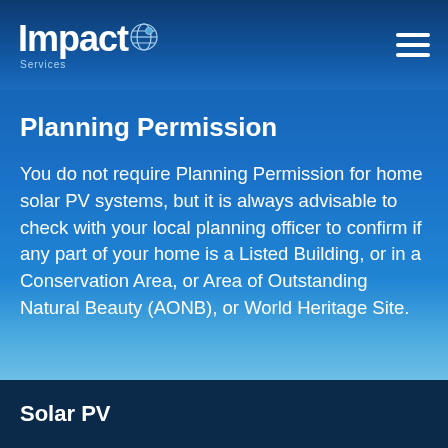Impact Services
Planning Permission
You do not require Planning Permission for home solar PV systems, but it is always advisable to check with your local planning officer to confirm if any part of your home is a Listed Building, or in a Conservation Area, or Area of Outstanding Natural Beauty (AONB), or World Heritage Site.
Solar PV